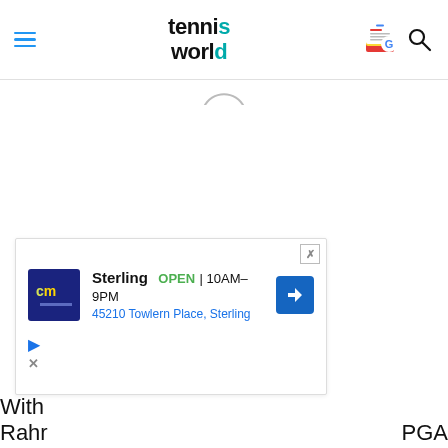Tennis World — navigation header with hamburger menu, logo, Google News icon, and search icon
[Figure (screenshot): Partial circle/loading icon visible just below the header]
[Figure (screenshot): Advertisement box for Sterling store: OPEN 10AM-9PM, 45210 Towlern Place, Sterling, with CM logo and navigation arrow]
With
Rahr
PGA